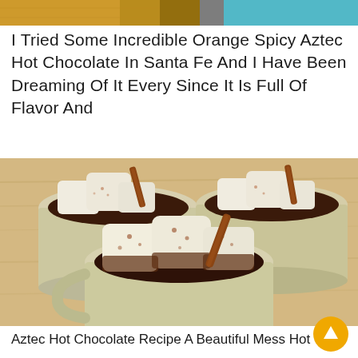[Figure (photo): Partial top photo strip showing yellow/orange and teal colors, cropped at top of page]
I Tried Some Incredible Orange Spicy Aztec Hot Chocolate In Santa Fe And I Have Been Dreaming Of It Every Since It Is Full Of Flavor And
[Figure (photo): Three cream-colored mugs filled with dark hot chocolate, topped with large marshmallows and cinnamon sticks, arranged on a wooden surface]
Aztec Hot Chocolate Recipe A Beautiful Mess Hot